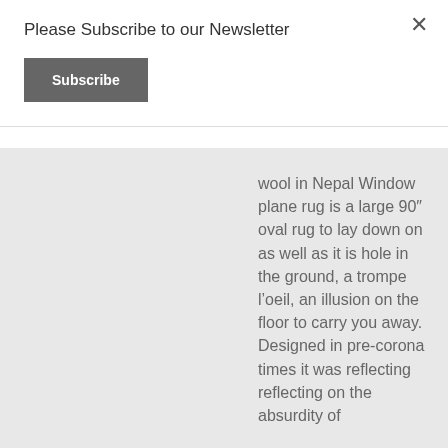Please Subscribe to our Newsletter
[Figure (other): Subscribe button - dark grey rectangle with white bold text 'Subscribe']
× (close button)
wool in Nepal Window plane rug is a large 90" oval rug to lay down on as well as it is hole in the ground, a trompe l'oeil, an illusion on the floor to carry you away. Designed in pre-corona times it was reflecting reflecting on the absurdity of